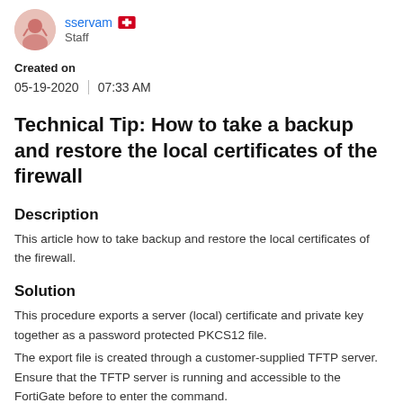sservam Staff
Created on
05-19-2020  |  07:33 AM
Technical Tip: How to take a backup and restore the local certificates of the firewall
Description
This article how to take backup and restore the local certificates of the firewall.
Solution
This procedure exports a server (local) certificate and private key together as a password protected PKCS12 file.
The export file is created through a customer-supplied TFTP server.  Ensure that the TFTP server is running and accessible to the FortiGate before to enter the command.